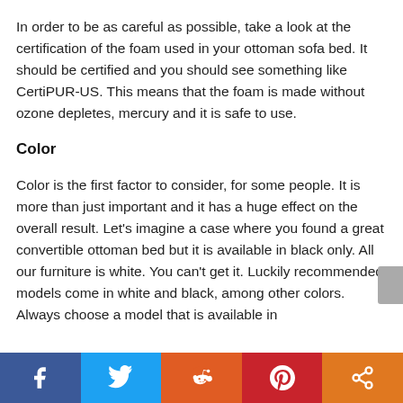In order to be as careful as possible, take a look at the certification of the foam used in your ottoman sofa bed. It should be certified and you should see something like CertiPUR-US. This means that the foam is made without ozone depletes, mercury and it is safe to use.
Color
Color is the first factor to consider, for some people. It is more than just important and it has a huge effect on the overall result. Let's imagine a case where you found a great convertible ottoman bed but it is available in black only. All our furniture is white. You can't get it. Luckily recommended models come in white and black, among other colors. Always choose a model that is available in